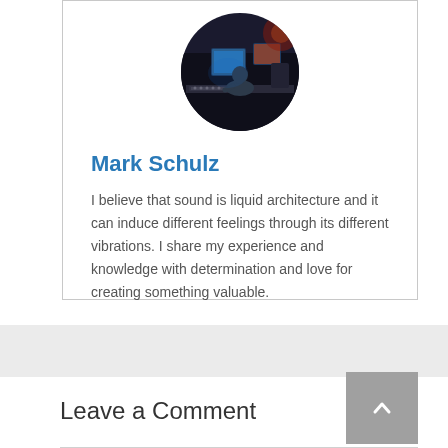[Figure (photo): Circular avatar photo of a person sitting at a music production studio desk with screens and equipment, dark atmospheric lighting]
Mark Schulz
I believe that sound is liquid architecture and it can induce different feelings through its different vibrations. I share my experience and knowledge with determination and love for creating something valuable.
Leave a Comment